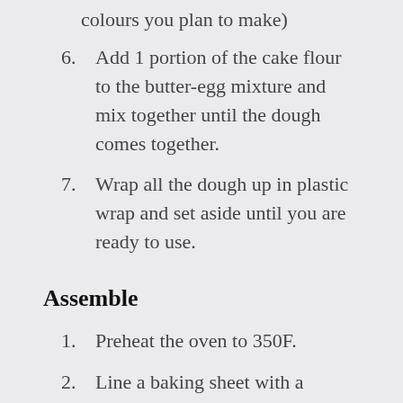colours you plan to make)
6. Add 1 portion of the cake flour to the butter-egg mixture and mix together until the dough comes together.
7. Wrap all the dough up in plastic wrap and set aside until you are ready to use.
Assemble
1. Preheat the oven to 350F.
2. Line a baking sheet with a silicone mat or parchment paper.
3. Divide the pineapple jam into 20 gram portions and roll into